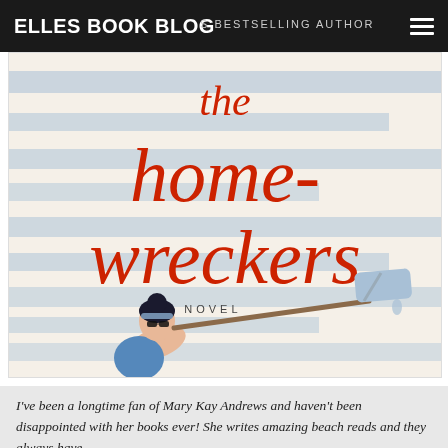ELLES BOOK BLOG
[Figure (illustration): Book cover of 'The Homewreckers: A Novel' with large red lowercase title text on cream background with blue painted horizontal stripes, and an illustrated woman in sunglasses painting with a roller.]
I've been a longtime fan of Mary Kay Andrews and haven't been disappointed with her books ever! She writes amazing beach reads and they always have